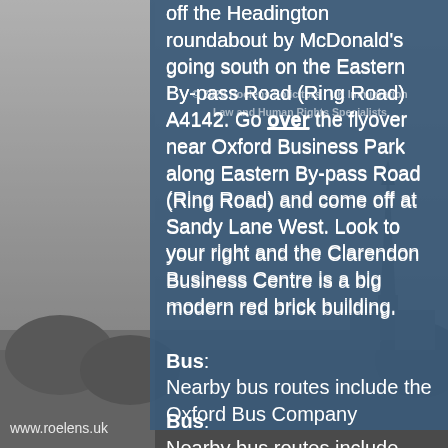[Figure (photo): Grayscale background photo of Oxford skyline with church spire]
© 2020 Roelens Solicitors | UK Immigration Law and Human Rights Specialists
off the Headington roundabout by McDonald's going south on the Eastern By-pass Road (Ring Road) A4142. Go over the flyover near Oxford Business Park along Eastern By-pass Road (Ring Road) and come off at Sandy Lane West. Look to your right and the Clarendon Business Centre is a big modern red brick building.
Bus: Nearby bus routes include the Oxford Bus Company (number 5 service) and Stagecoach services (numbers 1,12 and 12A services).
Please find us on Google Maps:
www.roelens.uk